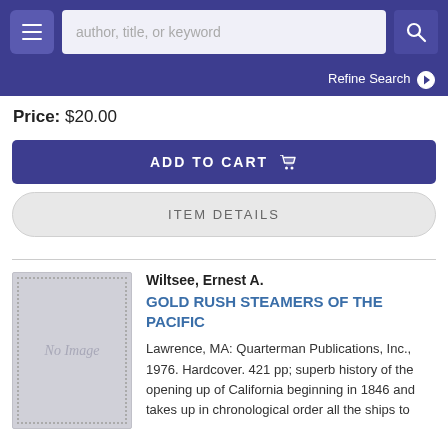author, title, or keyword | Refine Search
Price: $20.00
ADD TO CART
ITEM DETAILS
Wiltsee, Ernest A.
GOLD RUSH STEAMERS OF THE PACIFIC
Lawrence, MA: Quarterman Publications, Inc., 1976. Hardcover. 421 pp; superb history of the opening up of California beginning in 1846 and takes up in chronological order all the ships to